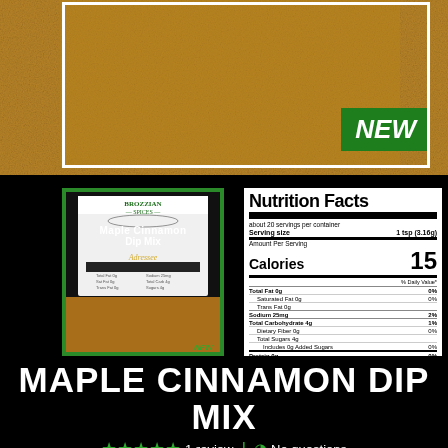[Figure (photo): Close-up photo of cinnamon spice powder texture]
[Figure (photo): Brozzian Spices Maple Cinnamon Dip Mix product package with green border, showing spice powder at bottom]
[Figure (other): Nutrition Facts label showing: about 20 servings per container, serving size 1 tsp (3.16g), Calories 15, Total Fat 0g 0%, Saturated Fat 0g 0%, Trans Fat 0g, Sodium 25mg 2%, Total Carbohydrate 4g 1%, Dietary Fiber 0g 0%, Total Sugars 4g, Includes 0g Added Sugars 0%, Protein 0g 0%]
MAPLE CINNAMON DIP MIX
★★★★★ 1 review | No questions
SALE $4.00 $5.00
Shipping calculated at checkout.